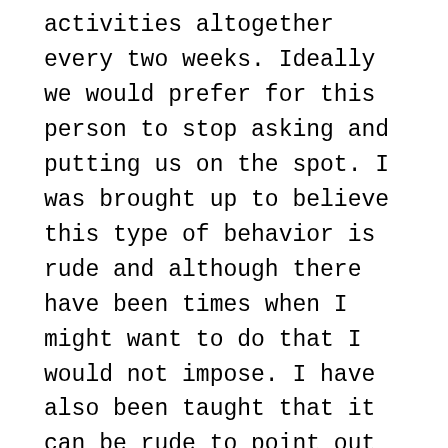activities altogether every two weeks. Ideally we would prefer for this person to stop asking and putting us on the spot. I was brought up to believe this type of behavior is rude and although there have been times when I might want to do that I would not impose. I have also been taught that it can be rude to point out to someonelse that they are being rude. This person is sensitive and controlling and we do not want to make her mad. She never gives without expecting in return although we do other things as we feel led without expectation in return. We try to never accept anything either that may put us in that position where we owe them anything. By the same token this